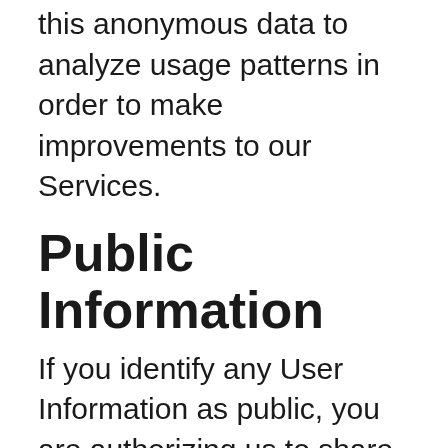this anonymous data to analyze usage patterns in order to make improvements to our Services.
Public Information
If you identify any User Information as public, you are authorizing us to share such information publicly. For example, you may elect to make certain of your User Submissions (such as your alias, bio, email or photos) publicly available. Also, there may be areas of the Services (for example, message boards, discussion